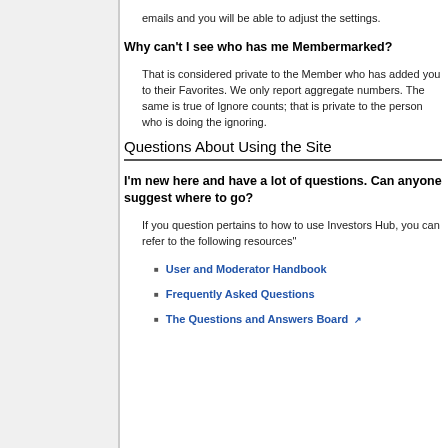emails and you will be able to adjust the settings.
Why can't I see who has me Membermarked?
That is considered private to the Member who has added you to their Favorites. We only report aggregate numbers. The same is true of Ignore counts; that is private to the person who is doing the ignoring.
Questions About Using the Site
I'm new here and have a lot of questions. Can anyone suggest where to go?
If you question pertains to how to use Investors Hub, you can refer to the following resources"
User and Moderator Handbook
Frequently Asked Questions
The Questions and Answers Board